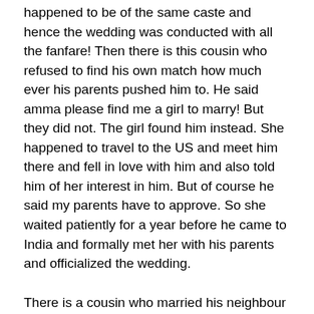Another cousin met his wife in the Thelfonea and she happened to be of the same caste and hence the wedding was conducted with all the fanfare! Then there is this cousin who refused to find his own match how much ever his parents pushed him to. He said amma please find me a girl to marry! But they did not. The girl found him instead. She happened to travel to the US and meet him there and fell in love with him and also told him of her interest in him. But of course he said my parents have to approve. So she waited patiently for a year before he came to India and formally met her with his parents and officialized the wedding.
There is a cousin who married his neighbour but within our community. Yet his parents refused to attend his wedding as he made his choice without giving his parents a say in the matter! But again I have a cousin who married out of